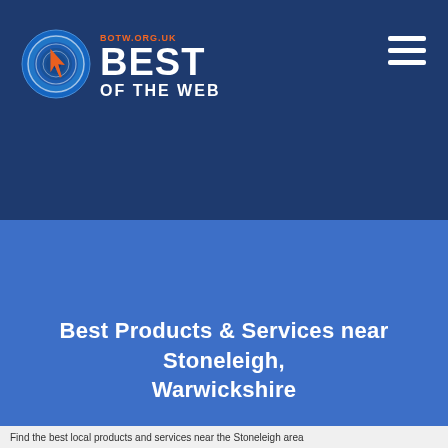[Figure (logo): Best of the Web logo with circular target icon in blue and orange, text BEST OF THE WEB and BOTW.ORG.UK]
Best Products & Services near Stoneleigh, Warwickshire
Find the best local products and services near the Stoneleigh area